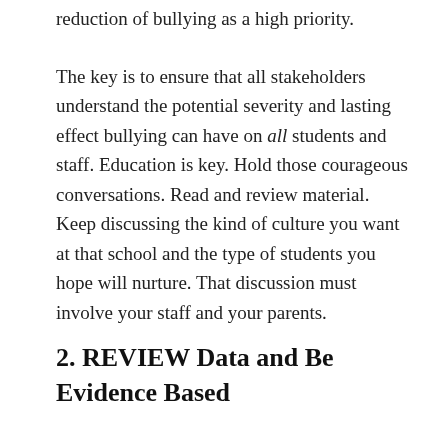reduction of bullying as a high priority.
The key is to ensure that all stakeholders understand the potential severity and lasting effect bullying can have on all students and staff. Education is key. Hold those courageous conversations. Read and review material. Keep discussing the kind of culture you want at that school and the type of students you hope will nurture. That discussion must involve your staff and your parents.
2. REVIEW Data and Be Evidence Based